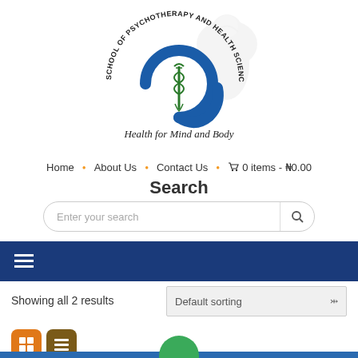[Figure (logo): School of Psychotherapy and Health Sciences logo — blue spiral G shape with caduceus symbol inside, tagline 'Health for Mind and Body' in cursive script, arched text 'SCHOOL OF PSYCHOTHERAPY AND HEALTH SCIENCES' around the top, lion watermark in background]
Home · About Us · Contact Us · 🛒 0 items - ₦0.00
Search
Enter your search
[Figure (screenshot): Dark blue navigation bar with hamburger menu icon (three white horizontal lines)]
Showing all 2 results
Default sorting
[Figure (infographic): Two view toggle buttons: orange grid view button and dark brown list view button]